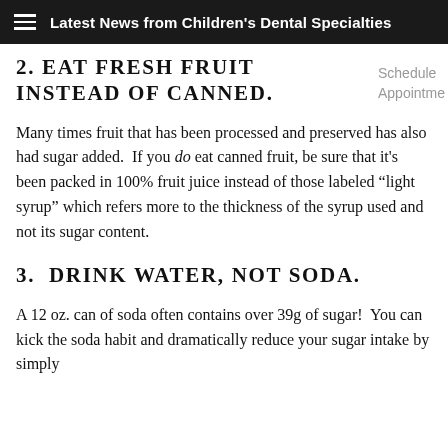Latest News from Children's Dental Specialties
2. EAT FRESH FRUIT INSTEAD OF CANNED.
Schedule Appointme
Many times fruit that has been processed and preserved has also had sugar added.  If you do eat canned fruit, be sure that it's been packed in 100% fruit juice instead of those labeled “light syrup” which refers more to the thickness of the syrup used and not its sugar content.
3.  DRINK WATER, NOT SODA.
A 12 oz. can of soda often contains over 39g of sugar!  You can kick the soda habit and dramatically reduce your sugar intake by simply